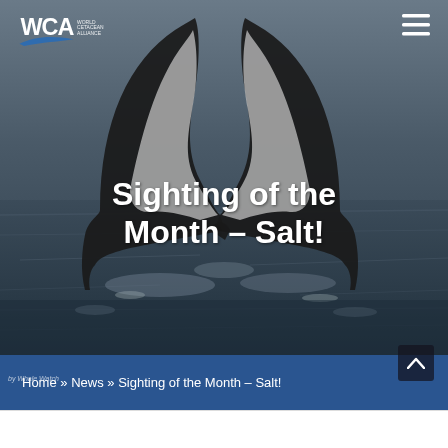WCA World Cetacean Alliance
[Figure (photo): Humpback whale tail (fluke) raised above dark ocean water, photographed from behind, showing the distinctive black and white coloring of the fluke against a grey sea and overcast sky.]
Sighting of the Month – Salt!
by Whale Watch
Home » News » Sighting of the Month – Salt!